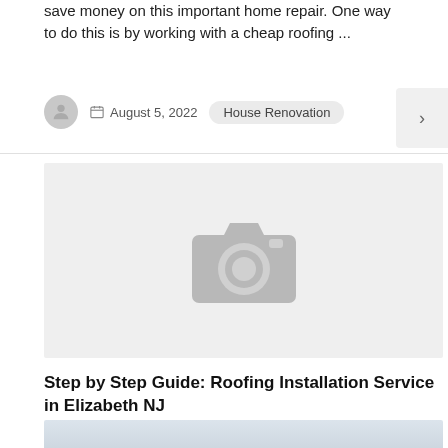save money on this important home repair. One way to do this is by working with a cheap roofing ...
August 5, 2022   House Renovation
[Figure (photo): Placeholder image with camera icon on grey background]
Step by Step Guide: Roofing Installation Service in Elizabeth NJ
[Figure (photo): Partial photo of sky/roofing at bottom of page]